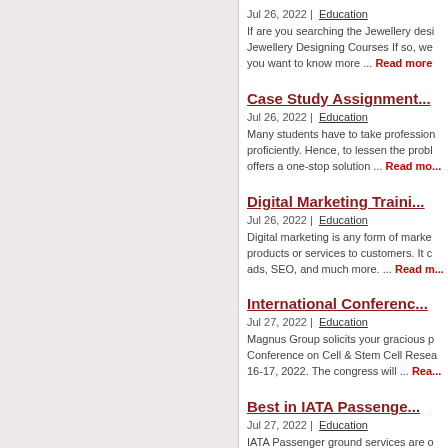Jul 26, 2022 | Education
If are you searching the Jewellery desi... Jewellery Designing Courses If so, we... you want to know more ... Read more
Case Study Assignmen...
Jul 26, 2022 | Education
Many students have to take profession... proficiently. Hence, to lessen the probl... offers a one-stop solution ... Read mo...
Digital Marketing Traini...
Jul 26, 2022 | Education
Digital marketing is any form of marke... products or services to customers. It c... ads, SEO, and much more. ... Read m...
International Conferenc...
Jul 27, 2022 | Education
Magnus Group solicits your gracious p... Conference on Cell & Stem Cell Resea... 16-17, 2022. The congress will ... Rea...
Best in IATA Passenge...
Jul 27, 2022 | Education
IATA Passenger ground services are o... UAE at the moment. The IATA Passen...